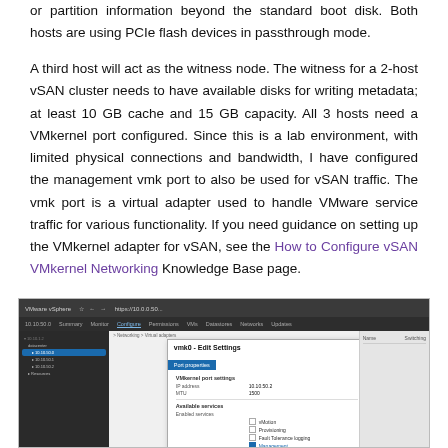or partition information beyond the standard boot disk. Both hosts are using PCIe flash devices in passthrough mode.
A third host will act as the witness node. The witness for a 2-host vSAN cluster needs to have available disks for writing metadata; at least 10 GB cache and 15 GB capacity. All 3 hosts need a VMkernel port configured. Since this is a lab environment, with limited physical connections and bandwidth, I have configured the management vmk port to also be used for vSAN traffic. The vmk port is a virtual adapter used to handle VMware service traffic for various functionality. If you need guidance on setting up the VMkernel adapter for vSAN, see the How to Configure vSAN VMkernel Networking Knowledge Base page.
[Figure (screenshot): Screenshot of VMware vSphere client showing vmk0 - Edit Settings dialog with Port properties tab selected, displaying VMkernel port settings and Available services including vMotion, Fault Tolerance logging, and Management checked]